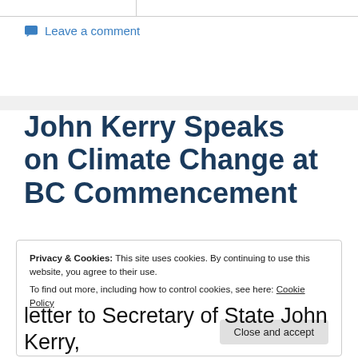Leave a comment
John Kerry Speaks on Climate Change at BC Commencement
Privacy & Cookies: This site uses cookies. By continuing to use this website, you agree to their use.
To find out more, including how to control cookies, see here: Cookie Policy
Close and accept
letter to Secretary of State John Kerry,